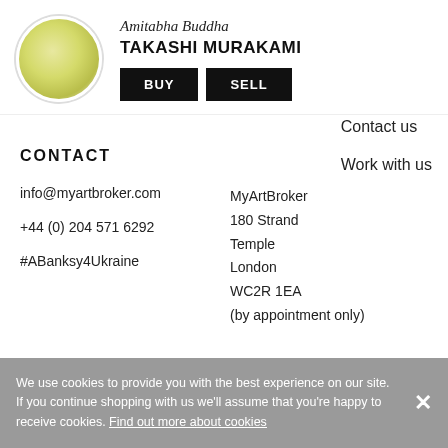[Figure (illustration): Circular artwork thumbnail showing a golden/yellow-green circular form on white background, resembling Amitabha Buddha artwork by Takashi Murakami]
Amitabha Buddha
TAKASHI MURAKAMI
BUY   SELL
Contact us
Work with us
CONTACT
info@myartbroker.com
+44 (0) 204 571 6292
#ABanksy4Ukraine
MyArtBroker
180 Strand
Temple
London
WC2R 1EA
(by appointment only)
We use cookies to provide you with the best experience on our site. If you continue shopping with us we'll assume that you're happy to receive cookies. Find out more about cookies